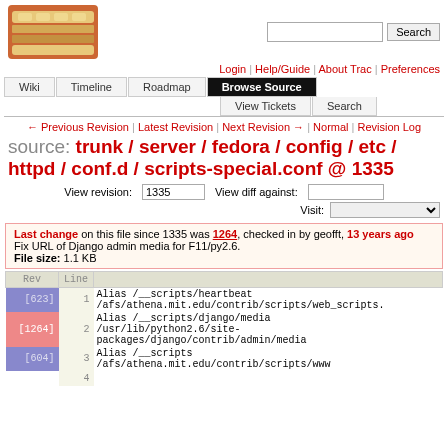[Figure (logo): Trac logo with bread/sandwich image]
Login | Help/Guide | About Trac | Preferences
Wiki | Timeline | Roadmap | Browse Source | View Tickets | Search
← Previous Revision | Latest Revision | Next Revision → | Normal | Revision Log
source: trunk / server / fedora / config / etc / httpd / conf.d / scripts-special.conf @ 1335
View revision: 1335   View diff against:
Visit:
Last change on this file since 1335 was 1264, checked in by geofft, 13 years ago
Fix URL of Django admin media for F11/py2.6.
File size: 1.1 KB
| Rev | Line |  |
| --- | --- | --- |
| [623] | 1 | Alias /__scripts/heartbeat /afs/athena.mit.edu/contrib/scripts/web_scripts. |
| [1264] | 2 | Alias /__scripts/django/media /usr/lib/python2.6/site-packages/django/contrib/admin/media |
| [604] | 3 | Alias /__scripts /afs/athena.mit.edu/contrib/scripts/www |
|  | 4 |  |